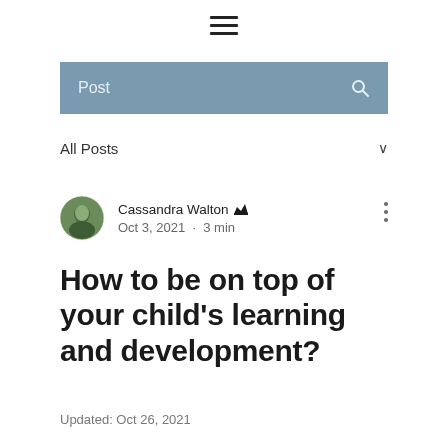≡
Post
All Posts
Cassandra Walton  Oct 3, 2021  •  3 min
How to be on top of your child's learning and development?
Updated: Oct 26, 2021